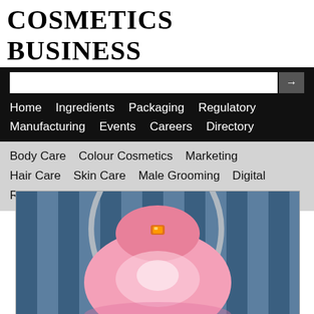COSMETICS BUSINESS
Home  Ingredients  Packaging  Regulatory  Manufacturing  Events  Careers  Directory  Body Care  Colour Cosmetics  Marketing  Hair Care  Skin Care  Male Grooming  Digital  Retail
[Figure (photo): A pink hair dryer or salon hood dryer against a blue and white striped background, shown from below/front angle with a metallic arm and orange indicator light on top.]